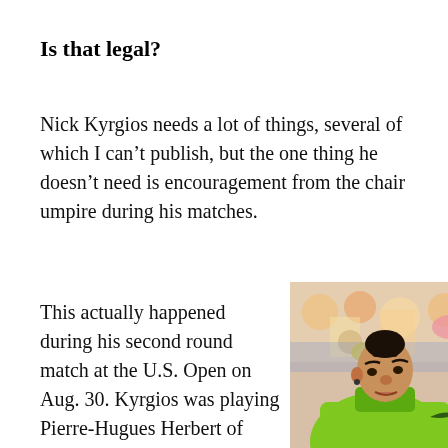Is that legal?
Nick Kyrgios needs a lot of things, several of which I can't publish, but the one thing he doesn't need is encouragement from the chair umpire during his matches.
This actually happened during his second round match at the U.S. Open on Aug. 30. Kyrgios was playing Pierre-Hugues Herbert of France and was trailing in the second set, 3-0, after
[Figure (photo): Nick Kyrgios in a bright green Nike tennis shirt, looking downward, with a crowd in the background at a tennis stadium.]